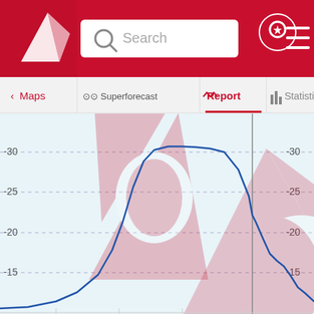[Figure (screenshot): Windy.com mobile app header with red background, logo (white triangle sail), search bar, location pin icon, and hamburger menu]
[Figure (screenshot): Navigation bar with tabs: Maps, Superforecast, Report (active, underlined in red), Statistics]
[Figure (continuous-plot): Line chart showing wind speed forecast over time. Y-axis labeled 30, 25, 20, 15. A blue line rises steeply from near 0 to about 32, stays flat, then drops sharply past a vertical grey marker line. A watermark of the Windy.com logo (red sail shape) is overlaid. The right portion after the vertical line shows values dropping from ~17 to ~11.]